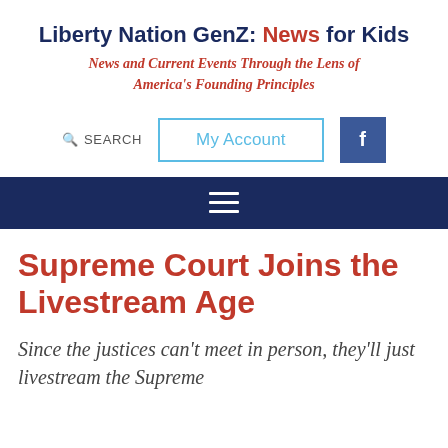Liberty Nation GenZ: News for Kids
News and Current Events Through the Lens of America's Founding Principles
SEARCH   My Account   f
[Figure (other): Dark navy navigation menu bar with hamburger menu icon (three horizontal white lines)]
Supreme Court Joins the Livestream Age
Since the justices can't meet in person, they'll just livestream the Supreme